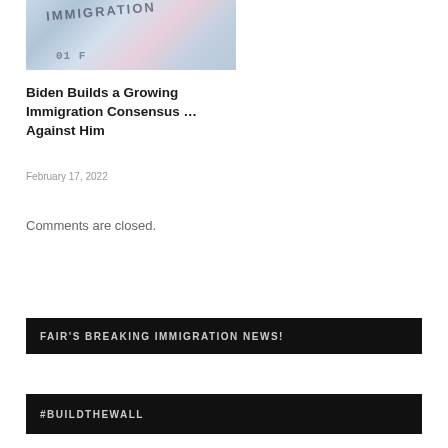[Figure (photo): Close-up photo of an immigration stamp/visa document with text 'IMMIGRATION' visible]
Biden Builds a Growing Immigration Consensus ... Against Him
February 17, 2022
Comments are closed.
FAIR'S BREAKING IMMIGRATION NEWS!
#BUILDTHEWALL